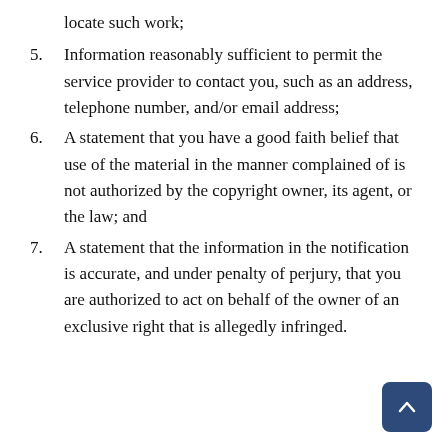locate such work;
5. Information reasonably sufficient to permit the service provider to contact you, such as an address, telephone number, and/or email address;
6. A statement that you have a good faith belief that use of the material in the manner complained of is not authorized by the copyright owner, its agent, or the law; and
7. A statement that the information in the notification is accurate, and under penalty of perjury, that you are authorized to act on behalf of the owner of an exclusive right that is allegedly infringed.